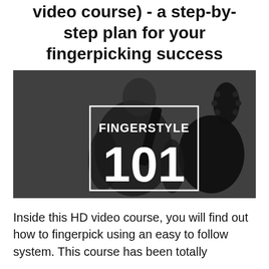video course) - a step-by-step plan for your fingerpicking success
[Figure (photo): Video thumbnail showing a person playing acoustic guitar with 'FINGERSTYLE 101' text overlay in a white bordered box on a dark grey background]
Inside this HD video course, you will find out how to fingerpick using an easy to follow system. This course has been totally